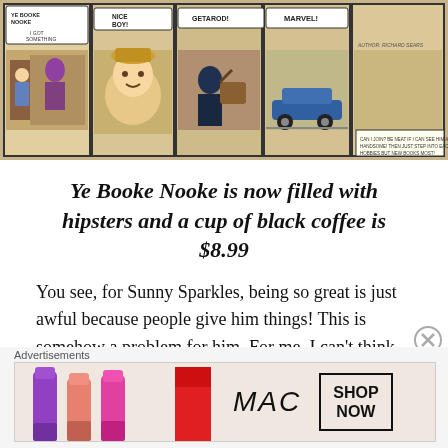[Figure (illustration): A comic strip with multiple panels showing characters including a person at a bookstore, a round-faced child, and a shadowy figure stealing luggage, and a car scene. Speech bubbles include text like 'Ye Booke Nooke', 'I got something for you!', 'Nice Boy!', 'Getarod!', and 'Marvel!']
Ye Booke Nooke is now filled with hipsters and a cup of black coffee is $8.99
You see, for Sunny Sparkles, being so great is just awful because people give him things! This is somehow a problem for him. For me, I can't think of much better, but maybe what makes Sunny Sparkles so nice is his lack of materialistic concerns like the ones I have. Of course, this is a comic book, and if I lived in comic book world like Sunny, and I had this power, I would inexorably get
[Figure (photo): An advertisement banner for MAC cosmetics showing lipsticks in purple, pink, and red colors, the MAC logo in italic script, and a 'SHOP NOW' button box.]